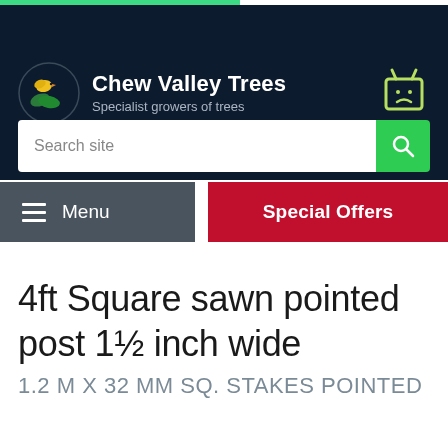Chew Valley Trees – Specialist growers of trees
4ft Square sawn pointed post 1½ inch wide
1.2 M X 32 MM SQ. STAKES POINTED